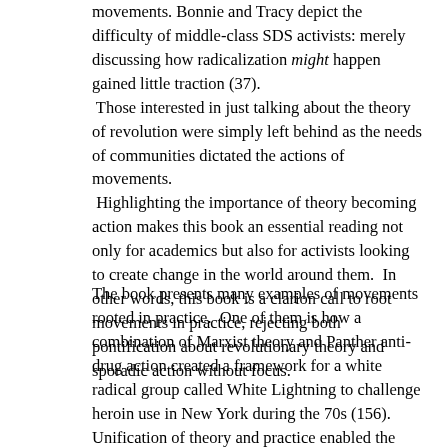movements. Bonnie and Tracy depict the difficulty of middle-class SDS activists: merely discussing how radicalization might happen gained little traction (37). Those interested in just talking about the theory of revolution were simply left behind as the needs of communities dictated the actions of movements. Highlighting the importance of theory becoming action makes this book an essential reading not only for academics but also for activists looking to create change in the world around them. In other words, this book is a clarion call to root movements in practice, rejecting both pontification about revolutionary theory and sporadic action without focus.
The book presents many examples of movements rooted in practice. One of them is how a combination of Marxist theory and Panther anti-drug action created a framework for a white radical group called White Lightning to challenge heroin use in New York during the 70s (156). Unification of theory and practice enabled the group to change the conditions surrounding drug in their